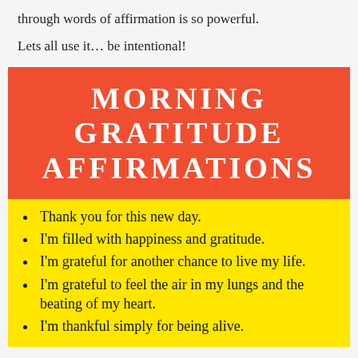through words of affirmation is so powerful.
Lets all use it… be intentional!
[Figure (infographic): Morning Gratitude Affirmations infographic with red header and yellow body listing affirmations]
Thank you for this new day.
I'm filled with happiness and gratitude.
I'm grateful for another chance to live my life.
I'm grateful to feel the air in my lungs and the beating of my heart.
I'm thankful simply for being alive.